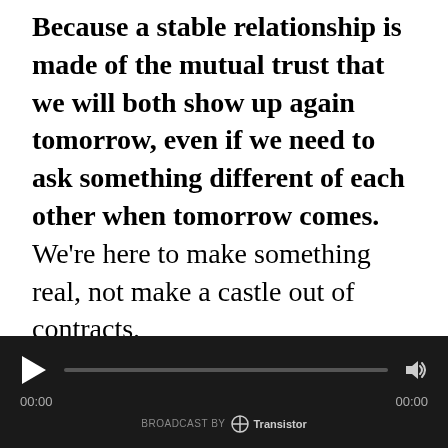Because a stable relationship is made of the mutual trust that we will both show up again tomorrow, even if we need to ask something different of each other when tomorrow comes. We're here to make something real, not make a castle out of contracts.

Ultimately, it's because we recognize that numbers are a clumsy-at-best proxy for value. Especially with software. Who knows what any of this is worth, you know? For us, numbers only make sense in terms of specific relationship, and that value can only be
[Figure (other): Audio player widget with dark background. Play button (triangle), progress bar, volume icon, time display showing 00:00 on both sides, and 'BROADCAST BY Transistor' branding at the bottom.]